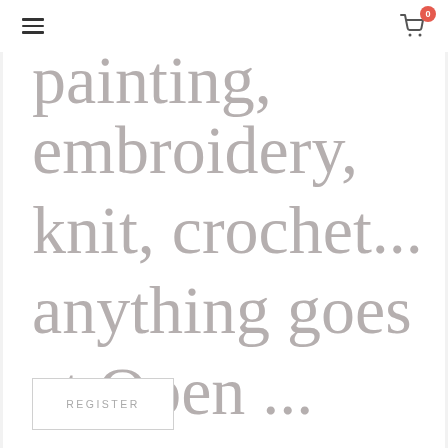≡  🛒 0
painting, embroidery, knit, crochet... anything goes at Open ...
REGISTER